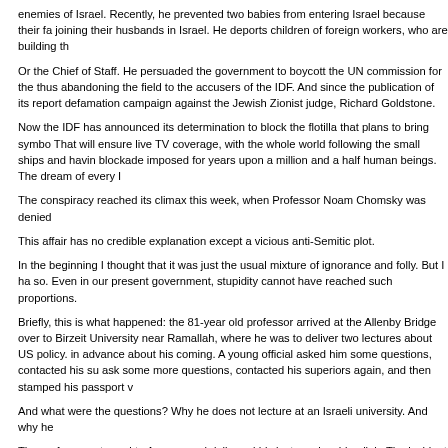enemies of Israel. Recently, he prevented two babies from entering Israel because their fa joining their husbands in Israel. He deports children of foreign workers, who are building th
Or the Chief of Staff. He persuaded the government to boycott the UN commission for the thus abandoning the field to the accusers of the IDF. And since the publication of its report defamation campaign against the Jewish Zionist judge, Richard Goldstone.
Now the IDF has announced its determination to block the flotilla that plans to bring symbo That will ensure live TV coverage, with the whole world following the small ships and havin blockade imposed for years upon a million and a half human beings. The dream of every I
The conspiracy reached its climax this week, when Professor Noam Chomsky was denied
This affair has no credible explanation except a vicious anti-Semitic plot.
In the beginning I thought that it was just the usual mixture of ignorance and folly. But I ha so. Even in our present government, stupidity cannot have reached such proportions.
Briefly, this is what happened: the 81-year old professor arrived at the Allenby Bridge over to Birzeit University near Ramallah, where he was to deliver two lectures about US policy. in advance about his coming. A young official asked him some questions, contacted his su ask some more questions, contacted his superiors again, and then stamped his passport v
And what were the questions? Why he does not lecture at an Israeli university. And why he
The professor returned to Amman and delivered his lectures by video link. The incident wa especially in the US. The Interior Ministry apologized half-heartedly, stating that the matter the responsibility of the military Coordinator for the (Occupied) Territories.
That is, of course, a mendacious excuse, since the ministry itself has recently denied entry sympathy with the Palestinians, including the most popular clown in Spain.